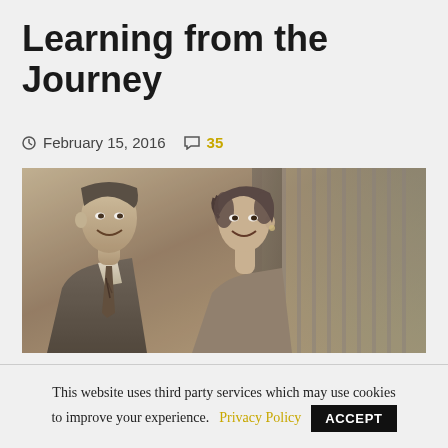Learning from the Journey
February 15, 2016   35
[Figure (photo): Black and white / sepia photo of a man and a woman (couple) posing together. The man is on the left wearing a suit and tie, smiling. The woman is on the right with curled hair, also smiling.]
Part I The past thirty days has been quite a journey. Along the...
This website uses third party services which may use cookies to improve your experience. Privacy Policy  ACCEPT